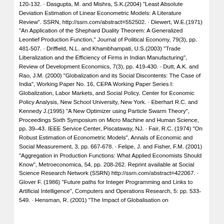120-132. · Dasgupta, M. and Mishra, S.K.(2004) "Least Absolute Deviation Estimation of Linear Econometric Models: A Literature Review". SSRN, http://ssrn.com/abstract=552502. · Diewert, W.E.(1971) "An Application of the Shephard Duality Theorem: A Generalized Leontief Production Function," Journal of Political Economy, 79(3), pp. 481-507. · Driffield, N.L. and Khambhampati, U.S.(2003) "Trade Liberalization and the Efficiency of Firms in Indian Manufacturing", Review of Development Economics, 7(3), pp. 419-430. · Dutt, A.K. and Rao, J.M. (2000) "Globalization and its Social Discontents: The Case of India", Working Paper No. 16, CEPA Working Paper Series I: Globalization, Labor Markets, and Social Policy. Center for Economic Policy Analysis, New School University, New York. · Eberhart R.C. and Kennedy J.(1995) "A New Optimizer using Particle Swarm Theory", Proceedings Sixth Symposium on Micro Machine and Human Science, pp. 39–43. IEEE Service Center, Piscataway, NJ. · Fair, R.C. (1974) "On Robust Estimation of Econometric Models", Annals of Economic and Social Measurement, 3, pp. 667-678. · Felipe, J. and Fisher, F.M. (2001) "Aggregation in Production Functions: What Applied Economists Should Know", Metroeconomica, 54, pp. 208-262. Reprint available at Social Science Research Network (SSRN) http://ssrn.com/abstract=422067. · Glover F. (1986) "Future paths for Integer Programming and Links to Artificial Intelligence", Computers and Operations Research, 5: pp. 533-549. · Hensman, R. (2001) "The Impact of Globalisation on